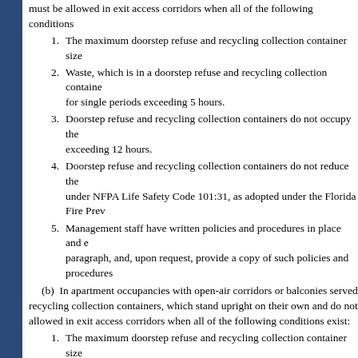must be allowed in exit access corridors when all of the following conditions
1. The maximum doorstep refuse and recycling collection container size
2. Waste, which is in a doorstep refuse and recycling collection containe for single periods exceeding 5 hours.
3. Doorstep refuse and recycling collection containers do not occupy the exceeding 12 hours.
4. Doorstep refuse and recycling collection containers do not reduce the under NFPA Life Safety Code 101:31, as adopted under the Florida Fire Prev
5. Management staff have written policies and procedures in place and e paragraph, and, upon request, provide a copy of such policies and procedures
(b) In apartment occupancies with open-air corridors or balconies served recycling collection containers, which stand upright on their own and do not allowed in exit access corridors when all of the following conditions exist:
1. The maximum doorstep refuse and recycling collection container size
2. Waste, which is in a doorstep refuse and recycling collection containe for single periods exceeding 5 hours.
3. Doorstep refuse and recycling collection containers do not reduce the under NFPA Life Safety Code 101:31, as adopted under the Florida Fire Prev
4. Management staff have written policies and procedures in place and e paragraph, and, upon request, provide a copy of such policies and procedures
(c) The authority having jurisdiction may approve alternative containers demonstrated to provide an equivalent level of safety to that provided under p
(d) The authority having jurisdiction shall allow apartment occupancies